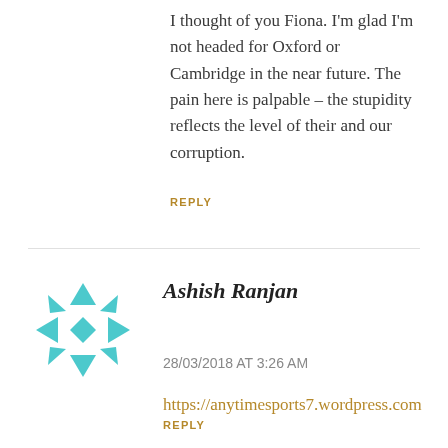I thought of you Fiona. I'm glad I'm not headed for Oxford or Cambridge in the near future. The pain here is palpable – the stupidity reflects the level of their and our corruption.
REPLY
[Figure (logo): Geometric snowflake/diamond pattern avatar in teal/cyan color]
Ashish Ranjan
28/03/2018 AT 3:26 AM
https://anytimesports7.wordpress.com
REPLY